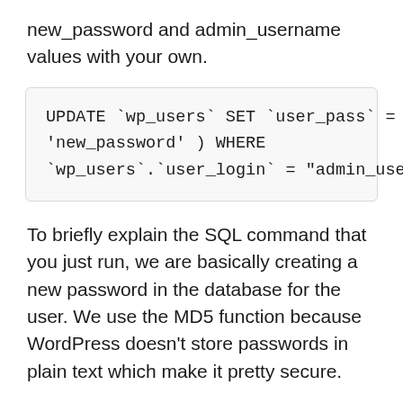new_password and admin_username values with your own.
UPDATE `wp_users` SET `user_pass` = MD5(
'new_password' ) WHERE
`wp_users`.`user_login` = "admin_username"
To briefly explain the SQL command that you just run, we are basically creating a new password in the database for the user. We use the MD5 function because WordPress doesn't store passwords in plain text which make it pretty secure.